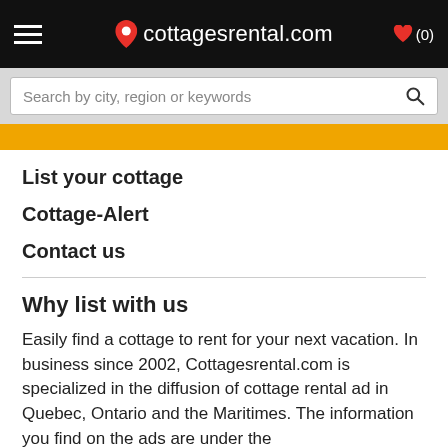cottagesrental.com ♥ (0)
Search by city, region or keywords
List your cottage
Cottage-Alert
Contact us
Why list with us
Easily find a cottage to rent for your next vacation. In business since 2002, Cottagesrental.com is specialized in the diffusion of cottage rental ad in Quebec, Ontario and the Maritimes. The information you find on the ads are under the